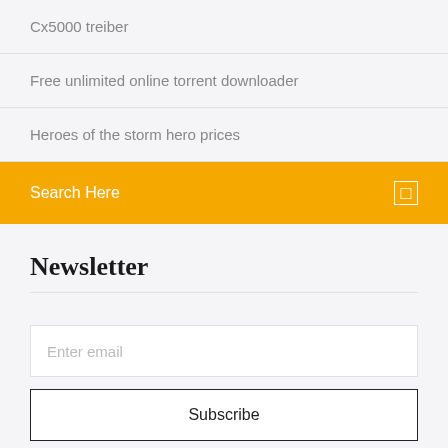Cx5000 treiber
Free unlimited online torrent downloader
Heroes of the storm hero prices
Search Here
Newsletter
Enter email
Subscribe